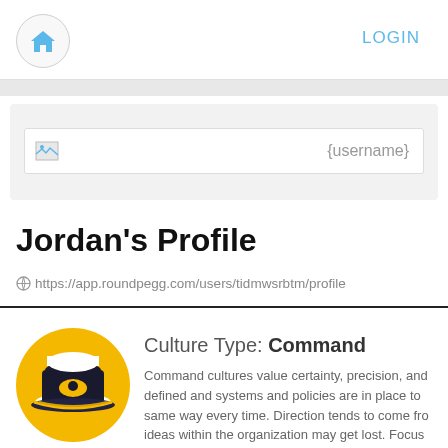LOGIN
[Figure (screenshot): Username search bar with placeholder text {username}]
Jordan’s Profile
https://app.roundpegg.com/users/tidmwsrbtm/profile
[Figure (illustration): Yellow circular badge with a navy captain hat icon representing the Command culture type]
Culture Type: Command
Command cultures value certainty, precision, and defined and systems and policies are in place to same way every time. Direction tends to come fro ideas within the organization may get lost. Focus with the environment feeling structured and serio